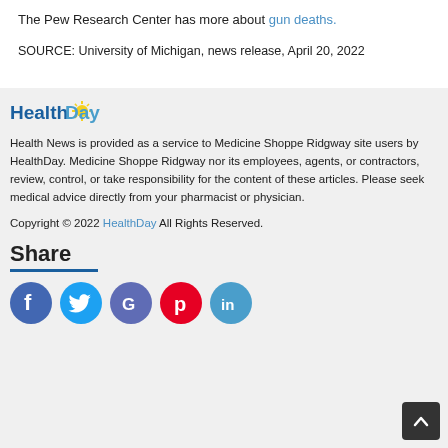The Pew Research Center has more about gun deaths.
SOURCE: University of Michigan, news release, April 20, 2022
[Figure (logo): HealthDay logo with sun graphic]
Health News is provided as a service to Medicine Shoppe Ridgway site users by HealthDay. Medicine Shoppe Ridgway nor its employees, agents, or contractors, review, control, or take responsibility for the content of these articles. Please seek medical advice directly from your pharmacist or physician.
Copyright © 2022 HealthDay All Rights Reserved.
Share
[Figure (illustration): Social media share icons: Facebook, Twitter, Google, Pinterest, LinkedIn]